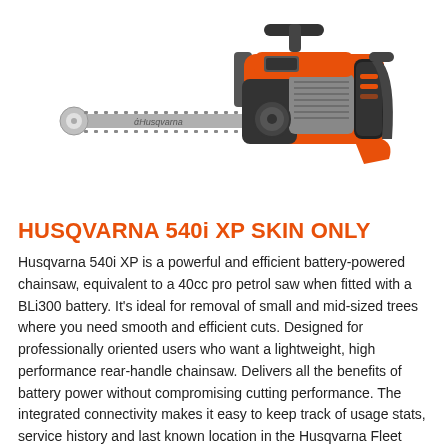[Figure (photo): Husqvarna 540i XP battery-powered chainsaw with orange and black body, shown at an angle with bar and chain extending to the left, Husqvarna logo on the bar.]
HUSQVARNA 540i XP SKIN ONLY
Husqvarna 540i XP is a powerful and efficient battery-powered chainsaw, equivalent to a 40cc pro petrol saw when fitted with a BLi300 battery. It's ideal for removal of small and mid-sized trees where you need smooth and efficient cuts. Designed for professionally oriented users who want a lightweight, high performance rear-handle chainsaw. Delivers all the benefits of battery power without compromising cutting performance. The integrated connectivity makes it easy to keep track of usage stats, service history and last known location in the Husqvarna Fleet Services™